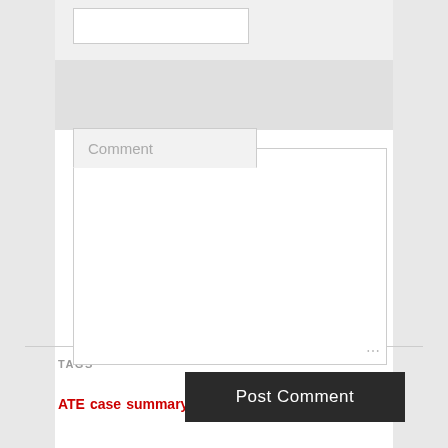[Figure (screenshot): Web form showing a Comment textarea field with placeholder label 'Comment' and a 'Post Comment' dark button below it]
TAGS
ATE case summary CCFAs CFAs